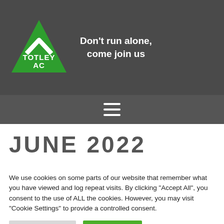[Figure (logo): Totley AC green triangle logo with white chevron and text 'TOTLEY AC' inside]
Don't run alone, come join us
[Figure (other): Hamburger menu icon (three horizontal white lines)]
JUNE 2022
We use cookies on some parts of our website that remember what you have viewed and log repeat visits. By clicking "Accept All", you consent to the use of ALL the cookies. However, you may visit "Cookie Settings" to provide a controlled consent.
Cookie Settings | Accept All